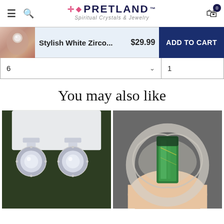Pretland - Spiritual Crystals & Jewelry
Stylish White Zirco... $29.99 ADD TO CART
6   1
You may also like
[Figure (photo): Diamond crystal drop earrings with halo setting on green background]
[Figure (photo): Green tourmaline crystal ring with intricate silver filigree setting held between fingers]